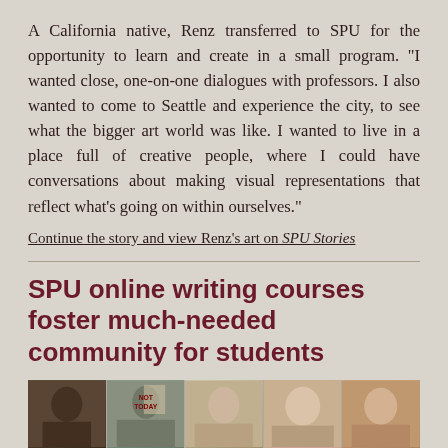A California native, Renz transferred to SPU for the opportunity to learn and create in a small program. “I wanted close, one-on-one dialogues with professors. I also wanted to come to Seattle and experience the city, to see what the bigger art world was like. I wanted to live in a place full of creative people, where I could have conversations about making visual representations that reflect what’s going on within ourselves.”
Continue the story and view Renz’s art on SPU Stories
SPU online writing courses foster much-needed community for students
[Figure (photo): A horizontal photo strip showing five panels of people in what appears to be a video call or online meeting. One panel shows a sign reading 'NOT TODAY'. People appear to be students or instructors in an online writing course.]